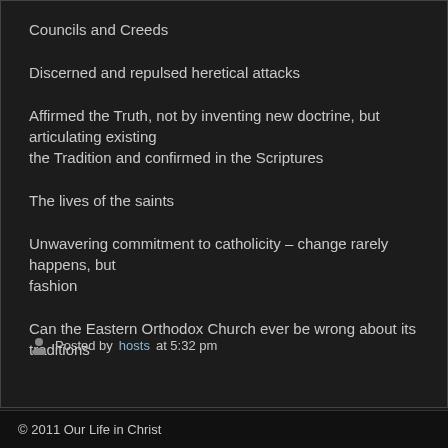Councils and Creeds
Discerned and repulsed heretical attacks
Affirmed the Truth, not by inventing new doctrine, but articulating existing the Tradition and confirmed in the Scriptures
The lives of the saints
Unwavering commitment to catholicity – change rarely happens, but fashion
Can the Eastern Orthodox Church ever be wrong about its traditions
Posted by hosts at 5:32 pm
© 2011 Our Life in Christ